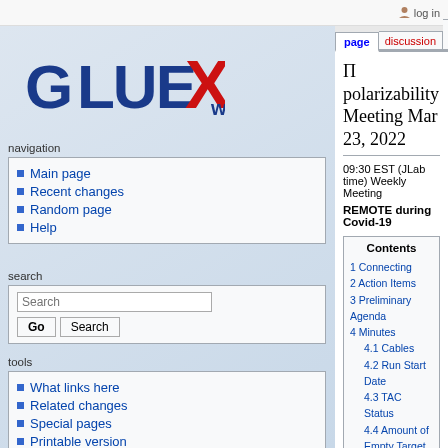log in
page | discussion | view source | history
[Figure (logo): GlueX logo with stylized text 'GLUEX' in blue and red with a red X]
navigation
Main page
Recent changes
Random page
Help
search
tools
What links here
Related changes
Special pages
Printable version
Permanent link
Π polarizability Meeting Mar 23, 2022
09:30 EST (JLab time) Weekly Meeting
REMOTE during Covid-19
| Contents |
| --- |
| 1 Connecting |
| 2 Action Items |
| 3 Preliminary Agenda |
| 4 Minutes |
| 4.1 Cables |
| 4.2 Run Start Date |
| 4.3 TAC Status |
| 4.4 Amount of Empty Target Data to Take |
| 4.5 Diamond Simulations |
| 4.6 Software/Calibration |
| 4.7 Scintillators |
| 4.8 Translation Tables for Scalers |
| 4.9 Low Voltage Feedback for the |